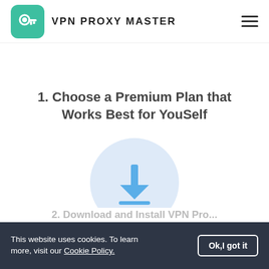[Figure (logo): VPN Proxy Master logo: green rounded square icon with a white key symbol, followed by bold uppercase text 'VPN PROXY MASTER']
1. Choose a Premium Plan that Works Best for YouSelf
[Figure (illustration): A light blue circle containing a blue download arrow icon (downward-pointing chevron with a horizontal bar at the bottom)]
2. Download and Install VPN Pr...
This website uses cookies. To learn more, visit our Cookie Policy.
Ok,I got it